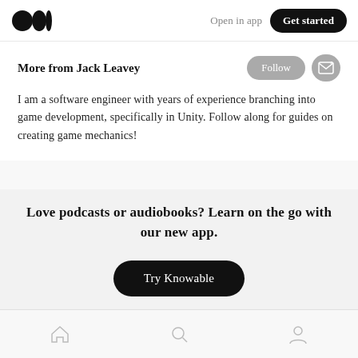Open in app | Get started
More from Jack Leavey
I am a software engineer with years of experience branching into game development, specifically in Unity. Follow along for guides on creating game mechanics!
Love podcasts or audiobooks? Learn on the go with our new app.
Try Knowable
Home | Search | Profile